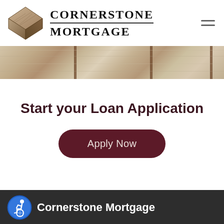[Figure (logo): Cornerstone Mortgage logo with a diamond-shaped stone/brick graphic on the left and bold serif text 'CORNERSTONE MORTGAGE' on the right with a horizontal rule between the two words]
[Figure (photo): A horizontal photo band showing attic insulation material (fibrous tan/beige) with vertical wooden beams/rafters visible]
Start your Loan Application
[Figure (other): Dark maroon rounded pill-shaped button with text 'Apply Now' in light/white color]
[Figure (logo): Accessibility icon — blue circle with white wheelchair user symbol]
Cornerstone Mortgage